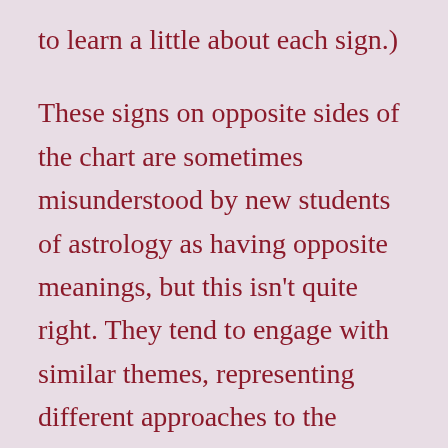to learn a little about each sign.)
These signs on opposite sides of the chart are sometimes misunderstood by new students of astrology as having opposite meanings, but this isn’t quite right. They tend to engage with similar themes, representing different approaches to the theme that can sometimes seem opposite, but in